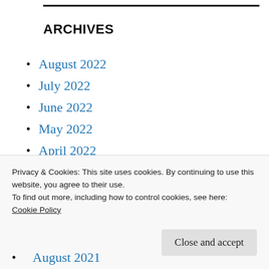ARCHIVES
August 2022
July 2022
June 2022
May 2022
April 2022
March 2022
February 2022
January 2022
Privacy & Cookies: This site uses cookies. By continuing to use this website, you agree to their use.
To find out more, including how to control cookies, see here:
Cookie Policy
August 2021